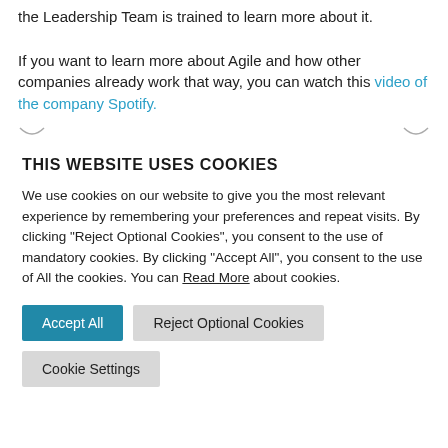the Leadership Team is trained to learn more about it. If you want to learn more about Agile and how other companies already work that way, you can watch this video of the company Spotify.
THIS WEBSITE USES COOKIES
We use cookies on our website to give you the most relevant experience by remembering your preferences and repeat visits. By clicking "Reject Optional Cookies", you consent to the use of mandatory cookies. By clicking "Accept All", you consent to the use of All the cookies. You can Read More about cookies.